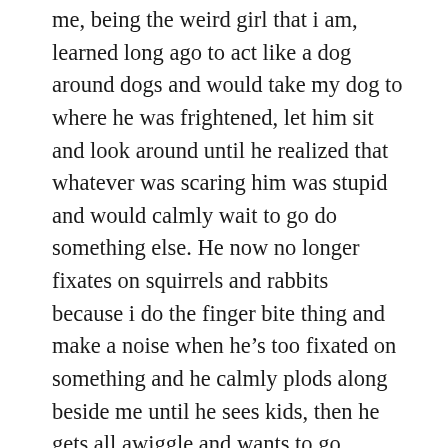me, being the weird girl that i am, learned long ago to act like a dog around dogs and would take my dog to where he was frightened, let him sit and look around until he realized that whatever was scaring him was stupid and would calmly wait to go do something else. He now no longer fixates on squirrels and rabbits because i do the finger bite thing and make a noise when he's too fixated on something and he calmly plods along beside me until he sees kids, then he gets all awiggle and wants to go wrestle with them and play.
I'm not saying that, if Fifi the teacup poodle is biting people's ankles that we should pin him down until he's relaxed, but to watch Cesar's